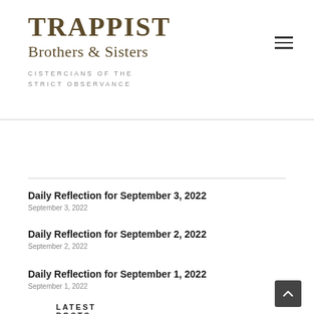TRAPPIST Brothers & Sisters
CISTERCIANS OF THE STRICT OBSERVANCE
LATEST POSTS
Daily Reflection for September 3, 2022
September 3, 2022
Daily Reflection for September 2, 2022
September 2, 2022
Daily Reflection for September 1, 2022
September 1, 2022